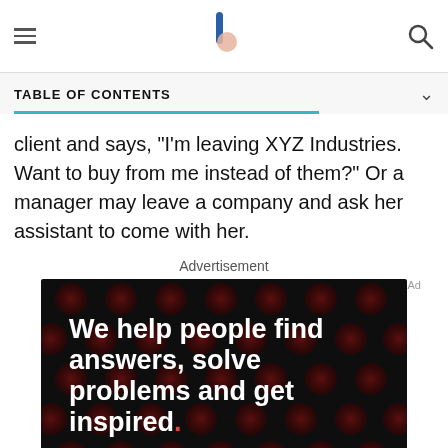Navigation bar with hamburger menu, site logo, and search icon
TABLE OF CONTENTS
client and says, "I'm leaving XYZ Industries. Want to buy from me instead of them?" Or a manager may leave a company and ask her assistant to come with her.
Advertisement
[Figure (other): Advertisement banner: black background with dark red dot pattern. Large white bold text reads 'We help people find answers, solve problems and get inspired.' with a red period. Footer strip shows smaller version of the text alongside Dotdash Meredith logo.]